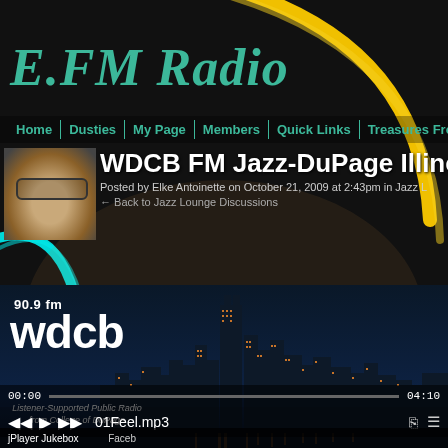E.FM Radio
Home | Dusties | My Page | Members | Quick Links | Treasures Fro
WDCB FM Jazz-DuPage Illinois
Posted by Elke Antoinette on October 21, 2009 at 2:43pm in Jazz L
← Back to Jazz Lounge Discussions
[Figure (screenshot): WDCB 90.9fm radio station banner showing the station logo, name, tagline 'Listener-Supported Public Radio from College of DuPage', and a nighttime Chicago skyline cityscape with illuminated buildings and the Willis/Sears Tower visible.]
Couldn't load plugin.
00:00
04:10
01Feel.mp3
jPlayer Jukebox  Faceb